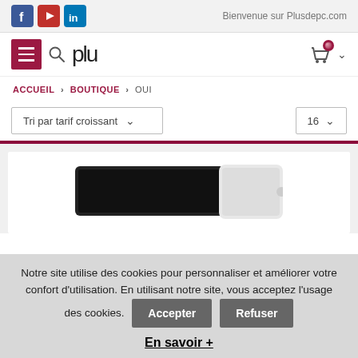Bienvenue sur Plusdepc.com
[Figure (logo): Plusdepc.com website logo with hamburger menu, search icon, and cart icon]
ACCUEIL > BOUTIQUE > OUI
Tri par tarif croissant  16
[Figure (photo): Product listing page with a tablet/device partially visible]
Notre site utilise des cookies pour personnaliser et améliorer votre confort d'utilisation. En utilisant notre site, vous acceptez l'usage des cookies. Accepter Refuser En savoir +